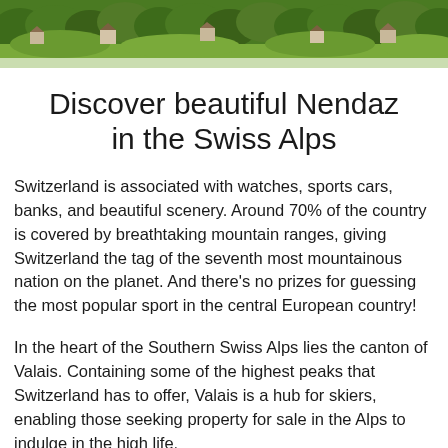[Figure (photo): Aerial or elevated view of a Swiss Alpine village with traditional chalet-style buildings surrounded by lush green forest and meadows.]
Discover beautiful Nendaz in the Swiss Alps
Switzerland is associated with watches, sports cars, banks, and beautiful scenery. Around 70% of the country is covered by breathtaking mountain ranges, giving Switzerland the tag of the seventh most mountainous nation on the planet. And there's no prizes for guessing the most popular sport in the central European country!
In the heart of the Southern Swiss Alps lies the canton of Valais. Containing some of the highest peaks that Switzerland has to offer, Valais is a hub for skiers, enabling those seeking property for sale in the Alps to indulge in the high life.
The municipality of Nendaz, in Valais, covers an area